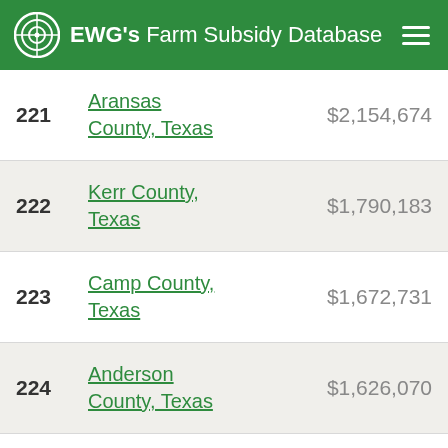EWG's Farm Subsidy Database
221 Aransas County, Texas $2,154,674
222 Kerr County, Texas $1,790,183
223 Camp County, Texas $1,672,731
224 Anderson County, Texas $1,626,070
225 Nacogdoches County, Texas $1,522,937
226 Comal County, Texas $1,476,297